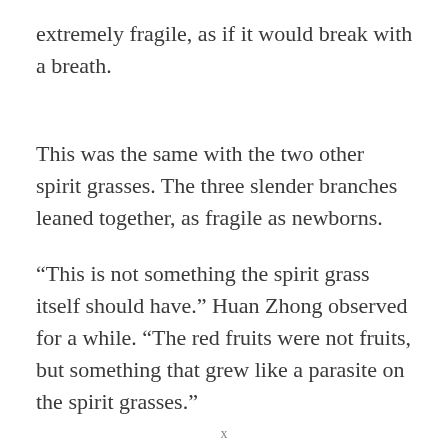extremely fragile, as if it would break with a breath.
This was the same with the two other spirit grasses. The three slender branches leaned together, as fragile as newborns.
“This is not something the spirit grass itself should have.” Huan Zhong observed for a while. “The red fruits were not fruits, but something that grew like a parasite on the spirit grasses.”
x